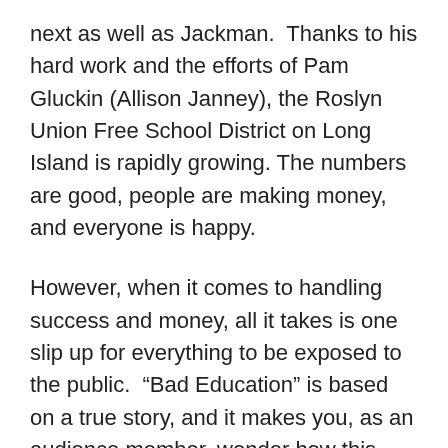next as well as Jackman.  Thanks to his hard work and the efforts of Pam Gluckin (Allison Janney), the Roslyn Union Free School District on Long Island is rapidly growing. The numbers are good, people are making money, and everyone is happy.
However, when it comes to handling success and money, all it takes is one slip up for everything to be exposed to the public.  “Bad Education” is based on a true story, and it makes you, as an audience member, wonder how this could have happened and why it got so out of hand.  I won’t spoil any of the details for you in terms of what happens to Pam Gluckin and Frank Tassone, but as they say,